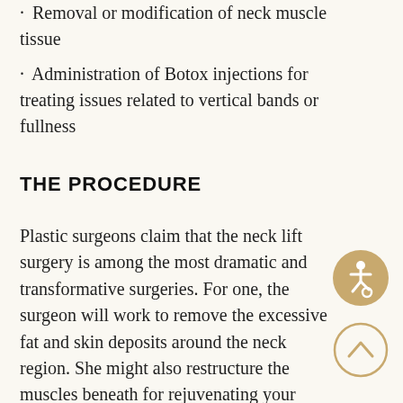· Removal or modification of neck muscle tissue
· Administration of Botox injections for treating issues related to vertical bands or fullness
THE PROCEDURE
Plastic surgeons claim that the neck lift surgery is among the most dramatic and transformative surgeries. For one, the surgeon will work to remove the excessive fat and skin deposits around the neck region. She might also restructure the muscles beneath for rejuvenating your overall appearance
[Figure (illustration): Accessibility wheelchair user icon in a golden/tan circle]
[Figure (illustration): Up chevron arrow icon in an outlined golden circle]